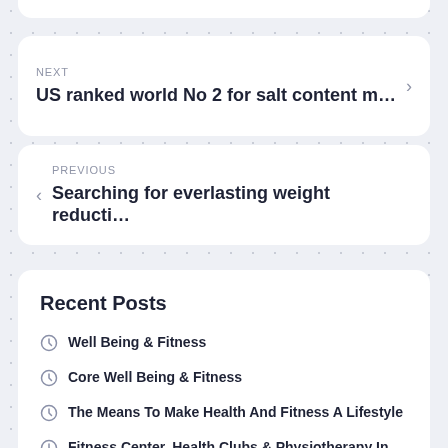NEXT
US ranked world No 2 for salt content m…
PREVIOUS
Searching for everlasting weight reducti…
Recent Posts
Well Being & Fitness
Core Well Being & Fitness
The Means To Make Health And Fitness A Lifestyle
Fitness Center, Health Clubs & Physiotherapy In…